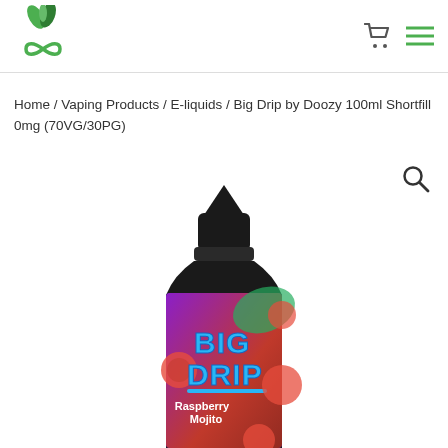[Figure (logo): Green plant/infinity symbol logo for a vaping/wellness store]
Home / Vaping Products / E-liquids / Big Drip by Doozy 100ml Shortfill 0mg (70VG/30PG)
[Figure (photo): Big Drip by Doozy 100ml shortfill e-liquid bottle with black cap, purple/red label showing raspberries and 'BIG DRIP Raspberry Mojito' branding]